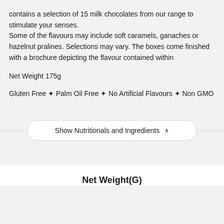contains a selection of 15 milk chocolates from our range to stimulate your senses.
Some of the flavours may include soft caramels, ganaches or hazelnut pralines. Selections may vary. The boxes come finished with a brochure depicting the flavour contained within
Net Weight 175g
Gluten Free ✦ Palm Oil Free ✦ No Artificial Flavours ✦ Non GMO
Show Nutritionals and Ingredients ^
Net Weight(G)